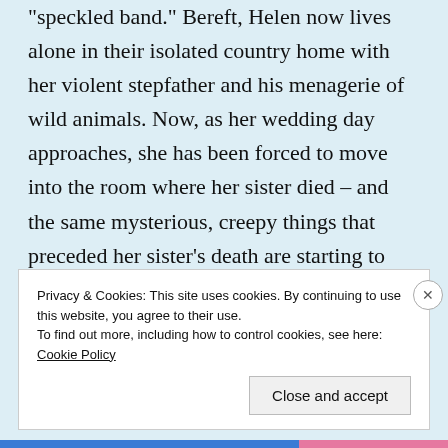"speckled band." Bereft, Helen now lives alone in their isolated country home with her violent stepfather and his menagerie of wild animals. Now, as her wedding day approaches, she has been forced to move into the room where her sister died – and the same mysterious, creepy things that preceded her sister's death are starting to happen again. What can it mean? Will Holmes and Watson be able to prevent a second tragedy?
Privacy & Cookies: This site uses cookies. By continuing to use this website, you agree to their use.
To find out more, including how to control cookies, see here: Cookie Policy